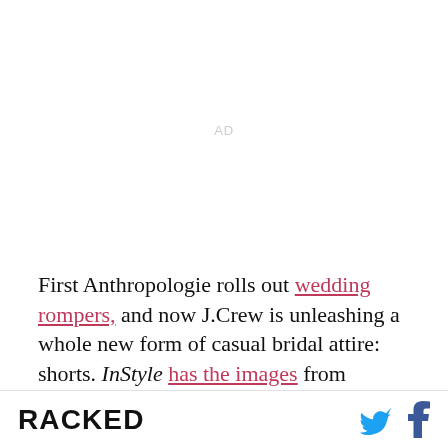[Figure (other): Advertisement placeholder with 'AD' label in light gray]
First Anthropologie rolls out wedding rompers, and now J.Crew is unleashing a whole new form of casual bridal attire: shorts. InStyle has the images from J.Crew's beachy bridal lookbook for spring 2015, which features...
RACKED [logo] with Twitter and Facebook icons